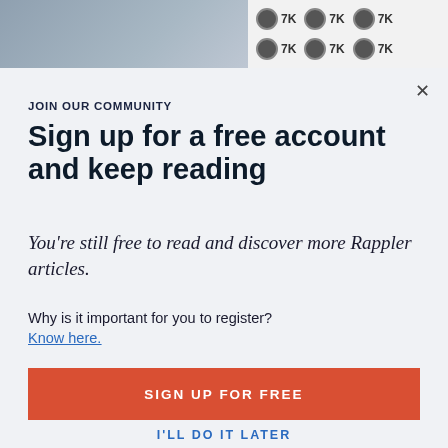[Figure (photo): Partial photo of a person at a podium with a background showing repeated '7K' icons with circular emblems]
X
JOIN OUR COMMUNITY
Sign up for a free account and keep reading
You're still free to read and discover more Rappler articles.
Why is it important for you to register?
Know here.
SIGN UP FOR FREE
I'LL DO IT LATER